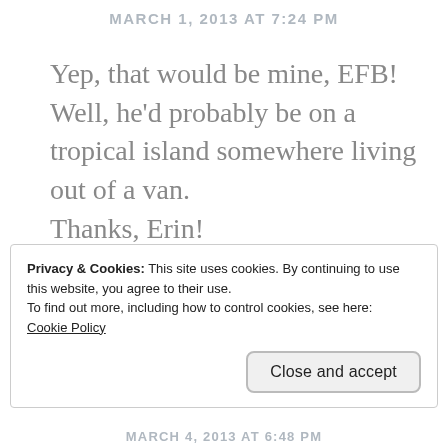MARCH 1, 2013 AT 7:24 PM
Yep, that would be mine, EFB! Well, he'd probably be on a tropical island somewhere living out of a van.
Thanks, Erin!
★ Like
Privacy & Cookies: This site uses cookies. By continuing to use this website, you agree to their use.
To find out more, including how to control cookies, see here:
Cookie Policy
Close and accept
MARCH 4, 2013 AT 6:48 PM